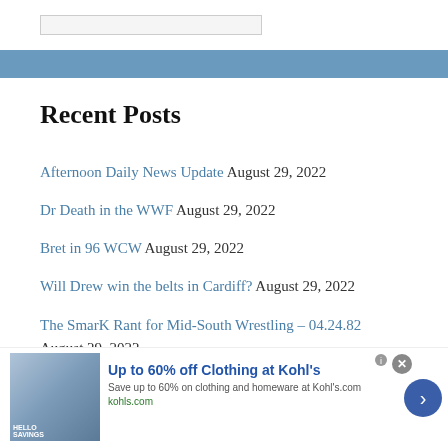[Figure (other): Top image placeholder bar with a light gray rectangle]
[Figure (other): Blue horizontal navigation/divider bar]
Recent Posts
Afternoon Daily News Update August 29, 2022
Dr Death in the WWF August 29, 2022
Bret in 96 WCW August 29, 2022
Will Drew win the belts in Cardiff? August 29, 2022
The SmarK Rant for Mid-South Wrestling – 04.24.82 August 29, 2022
[Figure (other): Advertisement banner: Up to 60% off Clothing at Kohl's. Save up to 60% on clothing and homeware at Kohl's.com. kohls.com]